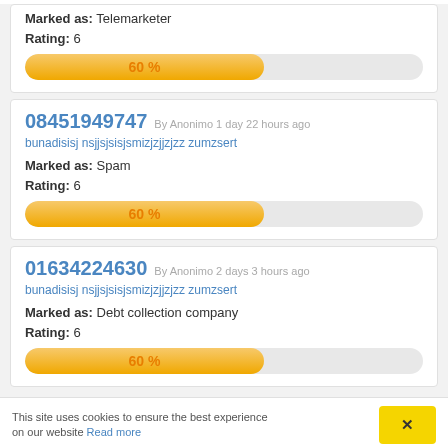Marked as: Telemarketer
Rating: 6
[Figure (infographic): Progress bar showing 60%]
08451949747 By Anonimo 1 day 22 hours ago
bunadisisj nsjjsjsisjsmizjzjjzjzz zumzsert
Marked as: Spam
Rating: 6
[Figure (infographic): Progress bar showing 60%]
01634224630 By Anonimo 2 days 3 hours ago
bunadisisj nsjjsjsisjsmizjzjjzjzz zumzsert
Marked as: Debt collection company
Rating: 6
[Figure (infographic): Progress bar showing 60%]
This site uses cookies to ensure the best experience on our website Read more